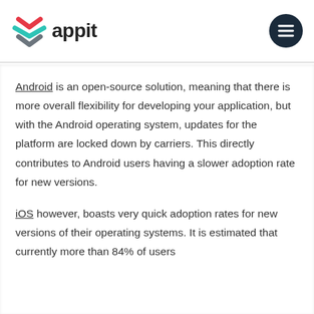[Figure (logo): Appit logo: colorful X mark with red, teal, and gray chevrons, followed by the text 'appit' in dark gray]
Android is an open-source solution, meaning that there is more overall flexibility for developing your application, but with the Android operating system, updates for the platform are locked down by carriers. This directly contributes to Android users having a slower adoption rate for new versions.
iOS however, boasts very quick adoption rates for new versions of their operating systems. It is estimated that currently more than 84% of users